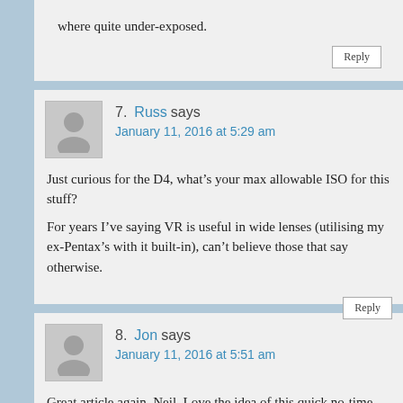where quite under-exposed.
Reply
7. Russ says
January 11, 2016 at 5:29 am
Just curious for the D4, what's your max allowable ISO for this stuff?
For years I've saying VR is useful in wide lenses (utilising my ex-Pentax's with it built-in), can't believe those that say otherwise.
Reply
8. Jon says
January 11, 2016 at 5:51 am
Great article again, Neil. Love the idea of this quick no-time-